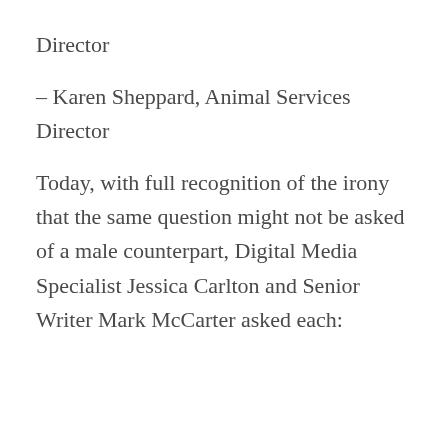Director
– Karen Sheppard, Animal Services Director
Today, with full recognition of the irony that the same question might not be asked of a male counterpart, Digital Media Specialist Jessica Carlton and Senior Writer Mark McCarter asked each: